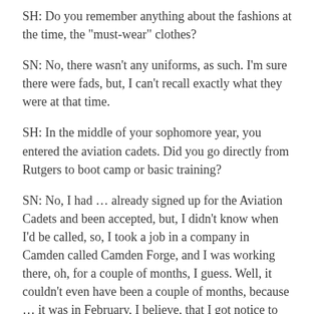SH: Do you remember anything about the fashions at the time, the "must-wear" clothes?
SN: No, there wasn't any uniforms, as such. I'm sure there were fads, but, I can't recall exactly what they were at that time.
SH: In the middle of your sophomore year, you entered the aviation cadets. Did you go directly from Rutgers to boot camp or basic training?
SN: No, I had … already signed up for the Aviation Cadets and been accepted, but, I didn't know when I'd be called, so, I took a job in a company in Camden called Camden Forge, and I was working there, oh, for a couple of months, I guess. Well, it couldn't even have been a couple of months, because … it was in February, I believe, that I got notice to report, in the middle of a snowstorm, and I thought, "Man, I'm going to be down in the sunny South in a couple days. I'll get away from this." I ended up in Atlantic City and they didn't take us straight into the cadets. We were one of the first classes